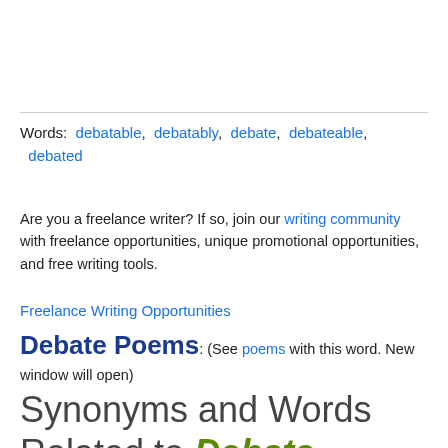Words: debatable, debatably, debate, debateable, debated
Are you a freelance writer? If so, join our writing community with freelance opportunities, unique promotional opportunities, and free writing tools.
Freelance Writing Opportunities
Debate Poems: (See poems with this word. New window will open)
Synonyms and Words Related to Debate